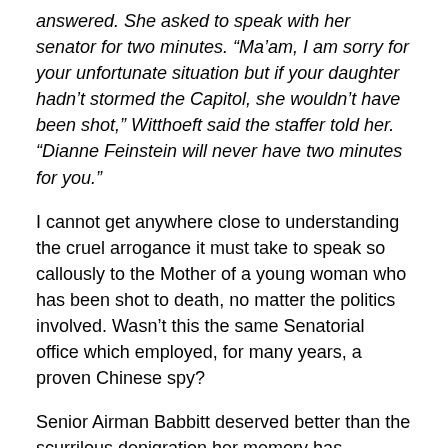answered. She asked to speak with her senator for two minutes. “Ma’am, I am sorry for your unfortunate situation but if your daughter hadn’t stormed the Capitol, she wouldn’t have been shot,” Witthoeft said the staffer told her. “Dianne Feinstein will never have two minutes for you.”
I cannot get anywhere close to understanding the cruel arrogance it must take to speak so callously to the Mother of a young woman who has been shot to death, no matter the politics involved. Wasn’t this the same Senatorial office which employed, for many years, a proven Chinese spy?
Senior Airman Babbitt deserved better than the scurrilous denigration her memory has received. A central question remains, however, and one which the Lame Stream Media has shown a remarkable lack of curiosity about, and that is